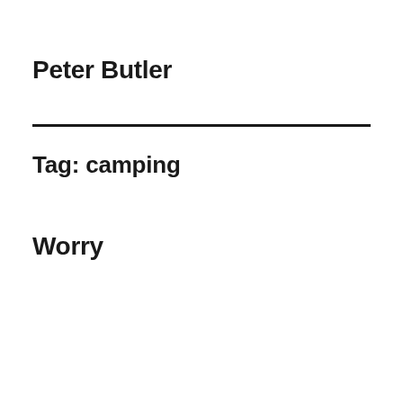Peter Butler
Tag: camping
Worry